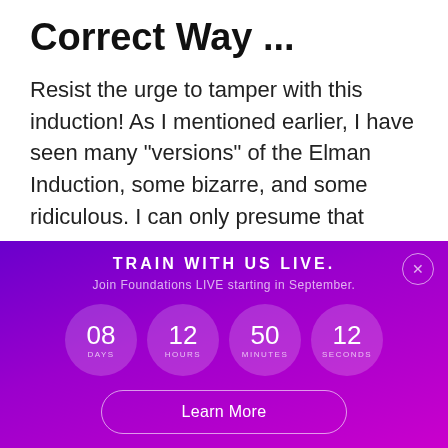Correct Way ...
Resist the urge to tamper with this induction! As I mentioned earlier, I have seen many “versions” of the Elman Induction, some bizarre, and some ridiculous. I can only presume that
[Figure (infographic): Purple gradient promotional banner with 'TRAIN WITH US LIVE.' heading, subtitle 'Join Foundations LIVE starting in September.', countdown timer showing 08 DAYS, 12 HOURS, 50 MINUTES, 12 SECONDS in circular displays, and a 'Learn More' button.]